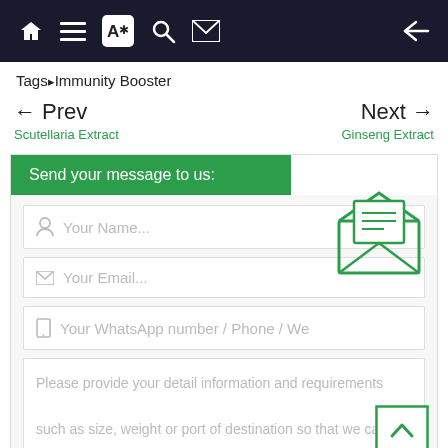Navigation bar with home, list, translate, search, mail, and back icons
Tags▸Immunity Booster
← Prev
Scutellaria Extract
Next →
Ginseng Extract
Send your message to us:
Your Name...
Your Email...
Your WhatsApp number / Phone / We
[Figure (illustration): Green open envelope icon with lines indicating a letter inside]
[Figure (illustration): Green square scroll-to-top button with upward chevron]
Please provide your detail information and requirements

such as size, weight or port of destination so that we can